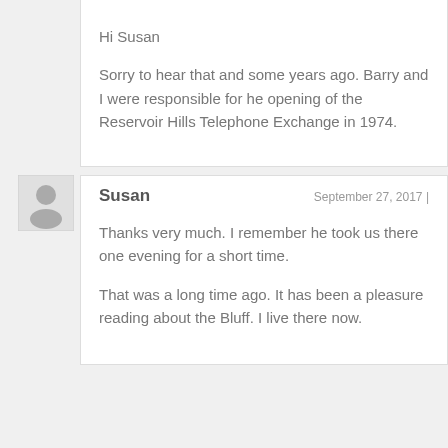Hi Susan
Sorry to hear that and some years ago. Barry and I were responsible for he opening of the Reservoir Hills Telephone Exchange in 1974.
Susan
September 27, 2017 |
Thanks very much. I remember he took us there one evening for a short time.
That was a long time ago. It has been a pleasure reading about the Bluff. I live there now.